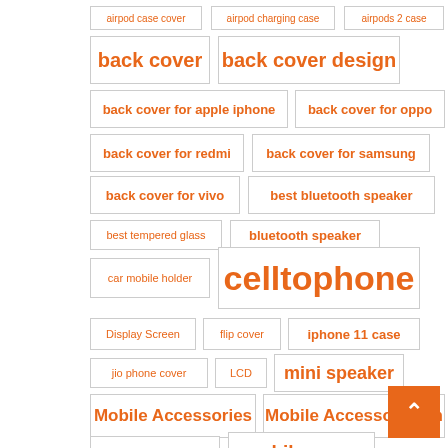[Figure (infographic): Tag cloud showing various product category tags in orange color on white background with gray borders, in different font sizes indicating relative popularity or importance. Tags include: airpod case cover, airpod charging case, airpods 2 case, back cover, back cover design, back cover for apple iphone, back cover for oppo, back cover for redmi, back cover for samsung, back cover for vivo, best bluetooth speaker, best tempered glass, bluetooth speaker, car mobile holder, celltophone, Display Screen, flip cover, iphone 11 case, jio phone cover, LCD, mini speaker, Mobile Accessories, Mobile Accessories In[dia], mobile back cover, mobile cover]